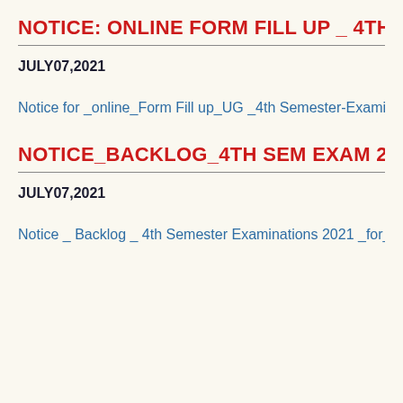NOTICE: ONLINE FORM FILL UP _ 4TH SEM EX
JULY07,2021
Notice for _online_Form Fill up_UG _4th Semester-Examina
NOTICE_BACKLOG_4TH SEM EXAM 2021
JULY07,2021
Notice _ Backlog _ 4th Semester Examinations 2021 _for_2